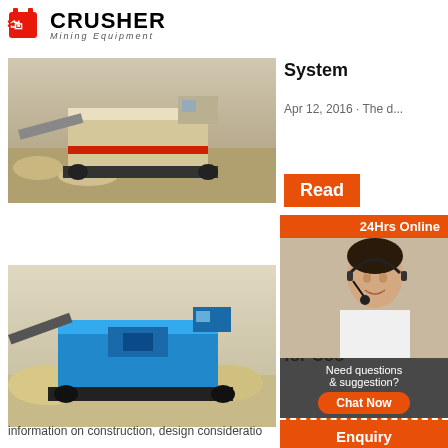[Figure (logo): Crusher Mining Equipment logo with shopping bag icon and bold CRUSHER text]
[Figure (photo): Mobile crusher/mining machine on a construction site with rocks and sand]
System
Apr 12, 2016 · The d...
[Figure (photo): Blue mobile crusher machine on a sandy/desert site]
Constr and Mainte Belt Co for Coo
information on construction, design consideratio
[Figure (infographic): Sidebar widget: 24Hrs Online banner, agent photo with headset, Need questions & suggestion? chat box, Chat Now button, Enquiry bar, limingjlmofen@sina.com email]